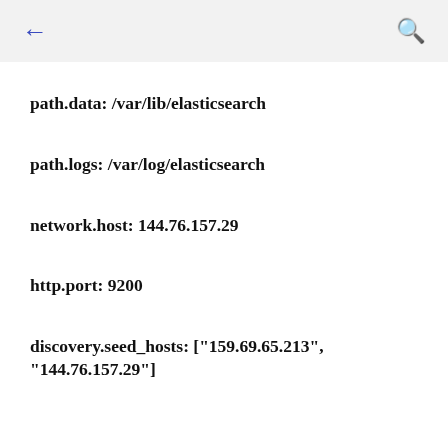← 🔍
path.data: /var/lib/elasticsearch
path.logs: /var/log/elasticsearch
network.host: 144.76.157.29
http.port: 9200
discovery.seed_hosts: ["159.69.65.213", "144.76.157.29"]